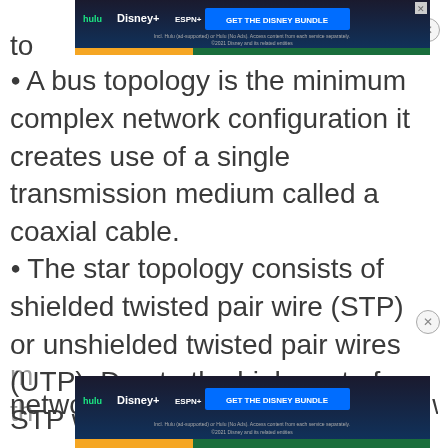[Figure (screenshot): Hulu Disney+ ESPN+ 'GET THE DISNEY BUNDLE' advertisement banner at top of page]
A bus topology is the minimum complex network configuration it creates use of a single transmission medium called a coaxial cable.
The star topology consists of shielded twisted pair wire (STP) or unshielded twisted pair wires (UTP). Due to the high cost of STP wire, most networks use UTP, however, STP wire
[Figure (screenshot): Hulu Disney+ ESPN+ 'GET THE DISNEY BUNDLE' advertisement banner at bottom of page]